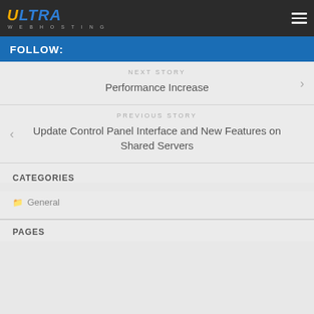ULTRA WEBHOSTING
FOLLOW:
NEXT STORY
Performance Increase
PREVIOUS STORY
Update Control Panel Interface and New Features on Shared Servers
CATEGORIES
General
PAGES